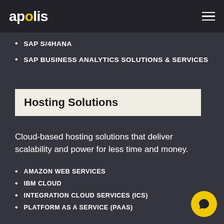apolis
SAP S/4HANA
SAP BUSINESS ANALYTICS SOLUTIONS & SERVICES
Hosting Solutions
Cloud-based hosting solutions that deliver scalability and power for less time and money.
AMAZON WEB SERVICES
IBM CLOUD
INTEGRATION CLOUD SERVICES (ICS)
PLATFORM AS A SERVICE (PAAS)